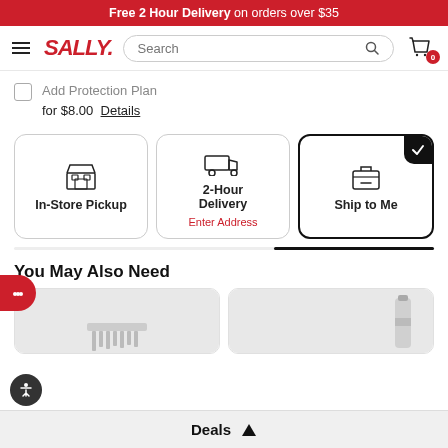Free 2 Hour Delivery on orders over $35
[Figure (screenshot): Sally Beauty navigation bar with hamburger menu, SALLY. logo, search bar, and cart icon with badge 0]
Add Protection Plan for $8.00 Details
[Figure (infographic): Three delivery option cards: In-Store Pickup (store icon), 2-Hour Delivery (delivery truck icon) with Enter Address link in red, Ship to Me (box icon) with black checkmark corner indicating selected]
You May Also Need
[Figure (photo): Two product card thumbnails partially visible at bottom]
Deals ▲